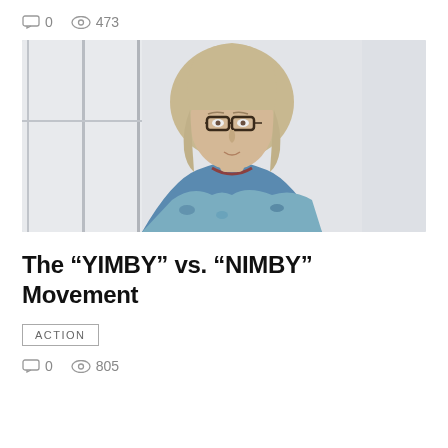0   473
[Figure (photo): Portrait photo of a middle-aged woman with blonde shoulder-length hair and dark-rimmed glasses, wearing a floral top and a dark necklace, photographed indoors near large windows.]
The “YIMBY” vs. “NIMBY” Movement
ACTION
0   805